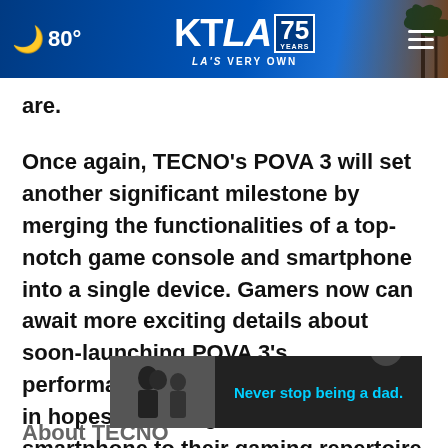80° KTLA 75 YEARS LA'S VERY OWN
are.
Once again, TECNO's POVA 3 will set another significant milestone by merging the functionalities of a top-notch game console and smartphone into a single device. Gamers now can await more exciting details about soon-launching POVA 3's performance-laden inner capabilities in hopes of adding the full-featured smartphone to their gaming repertoire.
[Figure (screenshot): Advertisement overlay showing a black and white photo of two people and the text 'Never stop being a dad.' in cyan]
About TECNO